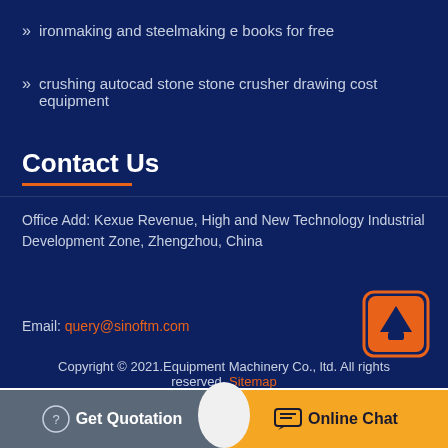ironmaking and steelmaking e books for free
crushing autocad stone stone crusher drawing cost equipment
Contact Us
Office Add: Kexue Revenue, High and New Technology Industrial Development Zone, Zhengzhou, China
Email: query@sinoftm.com
Copyright © 2021.Equipment Machinery Co., ltd. All rights reserved. Sitemap
Get Quotation
Online Chat